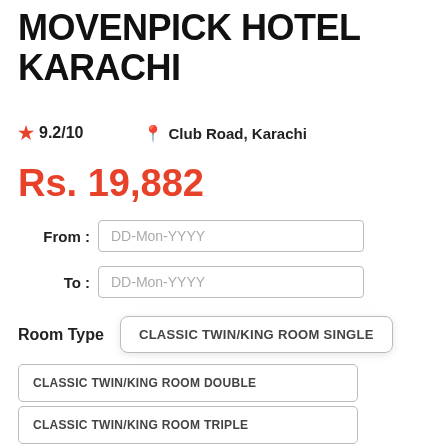MOVENPICK HOTEL KARACHI
★ 9.2/10    📍 Club Road, Karachi
Rs. 19,882
From : DD-Mon-YYYY
To : DD-Mon-YYYY
Room Type  CLASSIC TWIN/KING ROOM SINGLE
CLASSIC TWIN/KING ROOM DOUBLE
CLASSIC TWIN/KING ROOM TRIPLE
DELUXE TWIN/KING ROOM SINGLE
DELUXE TWIN/KING ROOM DOUBLE